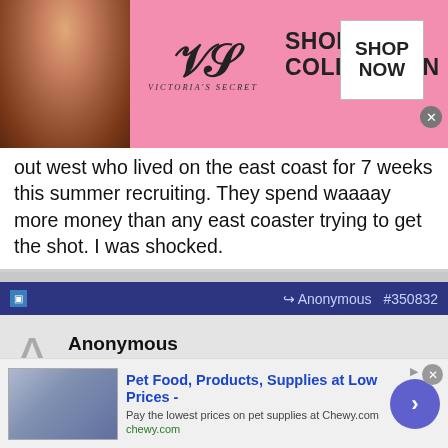[Figure (photo): Victoria's Secret advertisement banner with model, VS logo, 'SHOP THE COLLECTION' text, and 'SHOP NOW' button on pink background]
out west who lived on the east coast for 7 weeks this summer recruiting. They spend waaaay more money than any east coaster trying to get the shot. I was shocked.
Anonymous #350832
Anonymous
Unregistered
Originally Posted by Anonymous
Originally Posted by Anonymous
I love the person saying multiple times 'No one cares if the...
[Figure (photo): Chewy.com advertisement: Pet Food, Products, Supplies at Low Prices - Pay the lowest prices on pet supplies at Chewy.com]